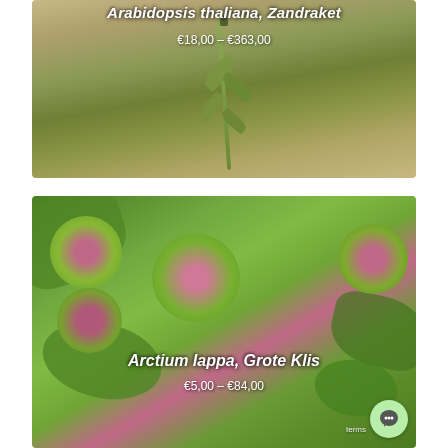[Figure (photo): Close-up photo of Arabidopsis thaliana plant stem with small leaves against a blurred brownish background. White italic text overlay shows plant name and price range.]
[Figure (photo): Close-up photo of Arctium lappa (Greater Burdock) showing spiky green bur flower heads with pink/magenta centers against large green leaves. White text overlay shows plant name and price range. Chat button visible in bottom right corner.]